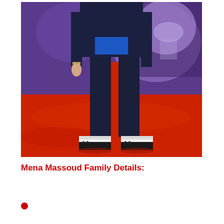[Figure (photo): A man wearing a dark navy suit with a blue floral shirt, slim black trousers, and black-and-white platform creeper shoes, standing on a red carpet in front of a purple fantasy-themed backdrop.]
Mena Massoud Family Details: